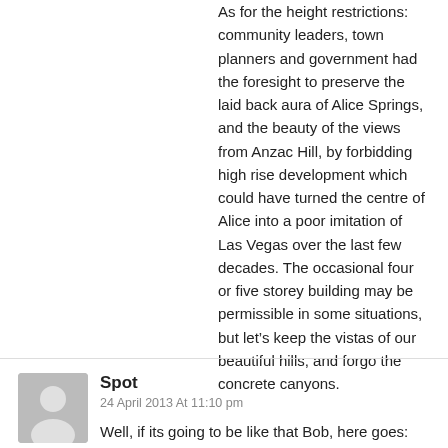As for the height restrictions: community leaders, town planners and government had the foresight to preserve the laid back aura of Alice Springs, and the beauty of the views from Anzac Hill, by forbidding high rise development which could have turned the centre of Alice into a poor imitation of Las Vegas over the last few decades. The occasional four or five storey building may be permissible in some situations, but let's keep the vistas of our beautiful hills, and forgo the concrete canyons.
Spot
24 April 2013 At 11:10 pm
Well, if its going to be like that Bob, here goes: Firstly, even you say that in some cases the four or five story limit would be OK.